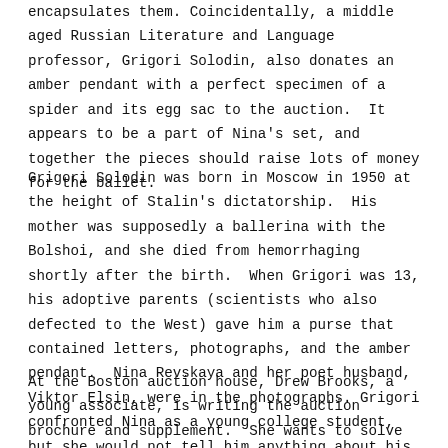encapsulates them. Coincidentally, a middle aged Russian Literature and Language professor, Grigori Solodin, also donates an amber pendant with a perfect specimen of a spider and its egg sac to the auction. It appears to be a part of Nina's set, and together the pieces should raise lots of money for the ballet.
Grigori Solodin was born in Moscow in 1950 at the height of Stalin's dictatorship. His mother was supposedly a ballerina with the Bolshoi, and she died from hemorrhaging shortly after the birth. When Grigori was 13, his adoptive parents (scientists who also defected to the West) gave him a purse that contained letters, photographs, and the amber pendant. Nina Revskaya and her poet husband, Viktor Elsin, were in the photographs. Grigori confronted Nina as a young college student, but she would not tell him anything about his mother.
At the Boston auction house, Drew Brooks, a young associate, is writing the auction brochure and supplement. She wants to solve the mystery of the matching amber set, and she presses Grigori and Nina for answers. Nina is obstinate, and the reader